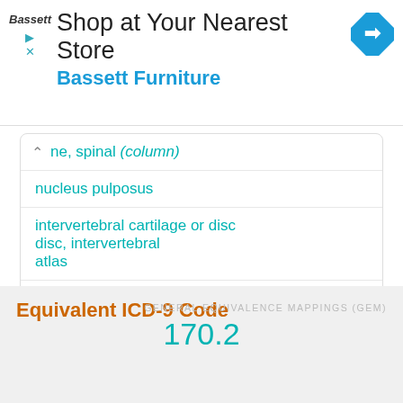[Figure (other): Advertisement banner for Bassett Furniture - Shop at Your Nearest Store]
ne, spinal (column)
nucleus pulposus
intervertebral cartilage or disc
disc, intervertebral
atlas
cartilage (articular) (joint) NEC (see: Neoplasm, bone) +
spine, spinal (column) +
bone (periosteum) +
Equivalent ICD-9 Code
GENERAL EQUIVALENCE MAPPINGS (GEM)
170.2